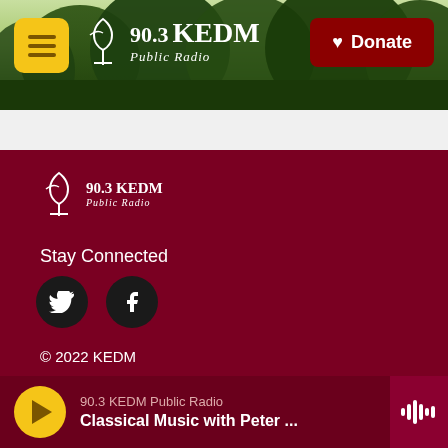[Figure (screenshot): 90.3 KEDM Public Radio website header with green forest background, yellow hamburger menu button, white KEDM logo, and dark red Donate button]
Stay Connected
[Figure (other): Social media icons: Twitter (bird) and Facebook (f) in black circles]
© 2022 KEDM
Public File
EEO Report
90.3 KEDM Public Radio — Classical Music with Peter ...